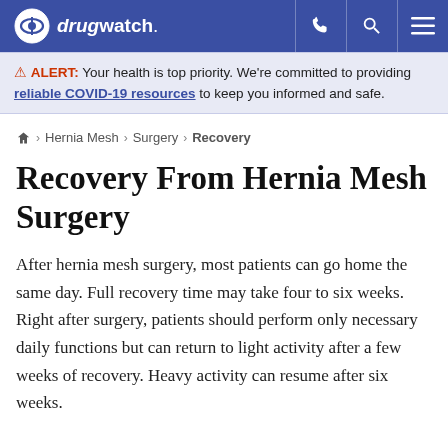drugwatch.
⚠ ALERT: Your health is top priority. We're committed to providing reliable COVID-19 resources to keep you informed and safe.
🏠 > Hernia Mesh > Surgery > Recovery
Recovery From Hernia Mesh Surgery
After hernia mesh surgery, most patients can go home the same day. Full recovery time may take four to six weeks. Right after surgery, patients should perform only necessary daily functions but can return to light activity after a few weeks of recovery. Heavy activity can resume after six weeks.